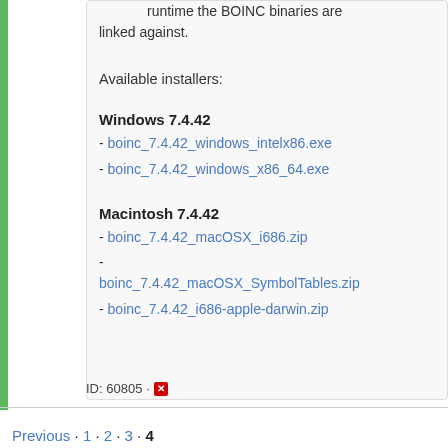runtime the BOINC binaries are linked against.
Available installers:
Windows 7.4.42
- boinc_7.4.42_windows_intelx86.exe
- boinc_7.4.42_windows_x86_64.exe
Macintosh 7.4.42
- boinc_7.4.42_macOSX_i686.zip
- boinc_7.4.42_macOSX_SymbolTables.zip
- boinc_7.4.42_i686-apple-darwin.zip
ID: 60805 ·
Previous · 1 · 2 · 3 · 4